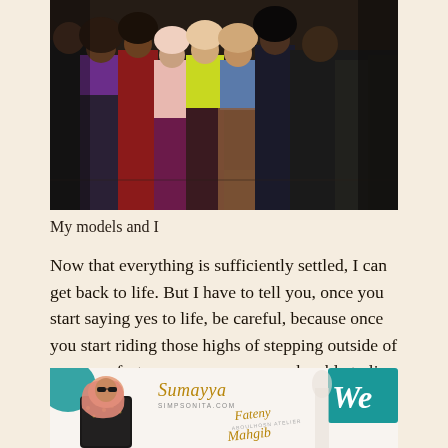[Figure (photo): Group photo of several women models standing together in colorful outfits including purple, red, yellow, and black clothing]
My models and I
Now that everything is sufficiently settled, I can get back to life. But I have to tell you, once you start saying yes to life, be careful, because once you start riding those highs of stepping outside of your comfort zone, you may never be able to live a normal life again.
[Figure (photo): Bottom portion of an event backdrop showing illustrated figure in hijab, brand names including Sumayya in cursive gold text, teal decorative circles, and a teal WE logo]